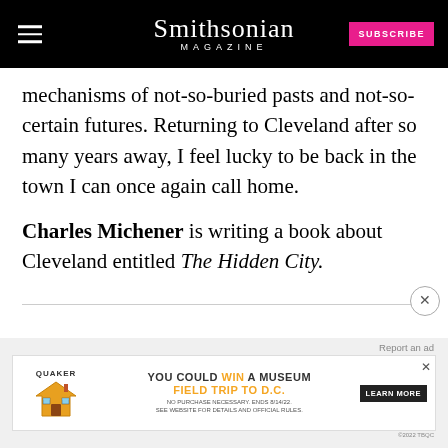Smithsonian Magazine
mechanisms of not-so-buried pasts and not-so-certain futures. Returning to Cleveland after so many years away, I feel lucky to be back in the town I can once again call home.
Charles Michener is writing a book about Cleveland entitled The Hidden City.
[Figure (screenshot): Advertisement banner for Quaker Museum Day promotion: 'You could win a Museum Field Trip to D.C.' with Learn More button]